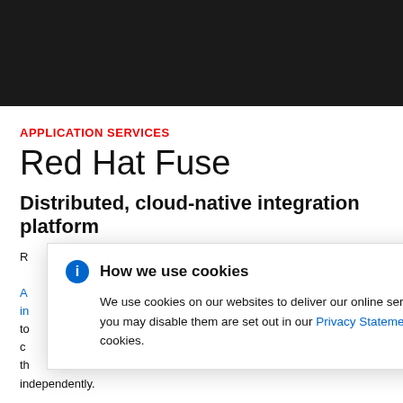APPLICATION SERVICES
Red Hat Fuse
Distributed, cloud-native integration platform
Red Hat Fuse is a distributed, cloud-native integration platform with capabilities like Apache Camel... of an agile integration... allows teams to... The API-centric... services so that... independently.
How we use cookies

We use cookies on our websites to deliver our online services. Details about how we use cookies and how you may disable them are set out in our Privacy Statement. By using this website you agree to our use of cookies.